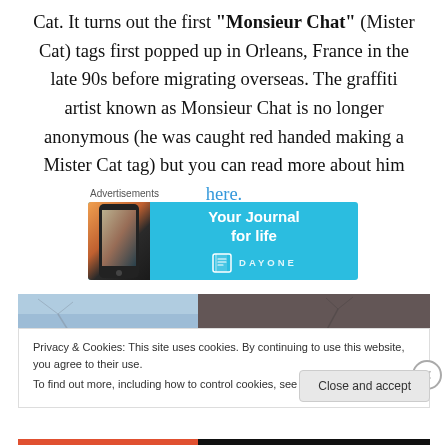Cat. It turns out the first "Monsieur Chat" (Mister Cat) tags first popped up in Orleans, France in the late 90s before migrating overseas. The graffiti artist known as Monsieur Chat is no longer anonymous (he was caught red handed making a Mister Cat tag) but you can read more about him here.
[Figure (other): Advertisement banner for DayOne app showing 'Your Journal for life' with a phone mockup on the left and the DayOne logo on the right, on a light blue background. Labeled 'Advertisements' above.]
[Figure (photo): Partial photo of a building and bare tree branches against a light blue sky.]
Privacy & Cookies: This site uses cookies. By continuing to use this website, you agree to their use. To find out more, including how to control cookies, see here: Cookie Policy